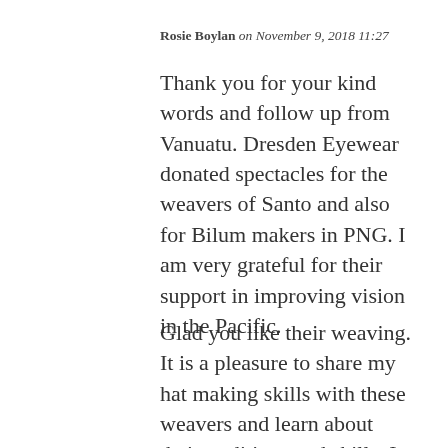Rosie Boylan on November 9, 2018 11:27
Thank you for your kind words and follow up from Vanuatu. Dresden Eyewear donated spectacles for the weavers of Santo and also for Bilum makers in PNG. I am very grateful for their support in improving vision in the Pacific.
Glad you like their weaving. It is a pleasure to share my hat making skills with these weavers and learn about their traditions and skills. I am not a weaver so I